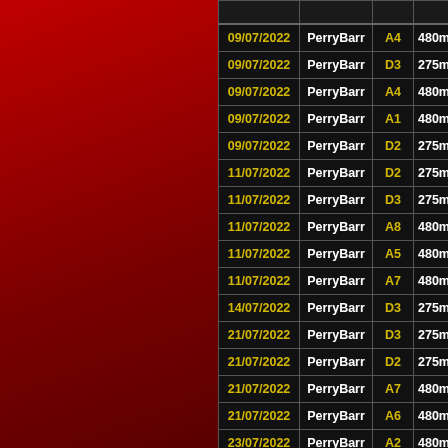| Date | Venue | Grade | Dist | Result |
| --- | --- | --- | --- | --- |
| 09/07/2022 | PerryBarr | A4 | 480m |  |
| 09/07/2022 | PerryBarr | D3 | 275m | 3 |
| 09/07/2022 | PerryBarr | A4 | 480m | 2 |
| 09/07/2022 | PerryBarr | A1 | 480m | 4 |
| 09/07/2022 | PerryBarr | D2 | 275m | 5 |
| 11/07/2022 | PerryBarr | D2 | 275m | 3 |
| 11/07/2022 | PerryBarr | D3 | 275m | 3 |
| 11/07/2022 | PerryBarr | A8 | 480m | 3 |
| 11/07/2022 | PerryBarr | A5 | 480m | 4 |
| 11/07/2022 | PerryBarr | A7 | 480m | 5 |
| 14/07/2022 | PerryBarr | D3 | 275m | 2 |
| 21/07/2022 | PerryBarr | D3 | 275m | 3 |
| 21/07/2022 | PerryBarr | D2 | 275m |  |
| 21/07/2022 | PerryBarr | A7 | 480m | 5 |
| 21/07/2022 | PerryBarr | A6 | 480m | 3 |
| 23/07/2022 | PerryBarr | A2 | 480m |  |